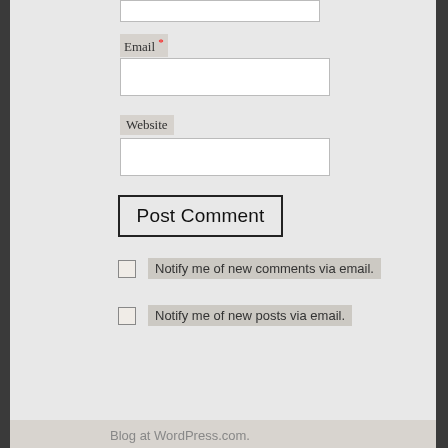[Figure (screenshot): WordPress comment form UI showing Email field with red asterisk, Website field, Post Comment button, two notification checkboxes, and Blog at WordPress.com footer]
Email *
Website
Post Comment
Notify me of new comments via email.
Notify me of new posts via email.
Blog at WordPress.com.